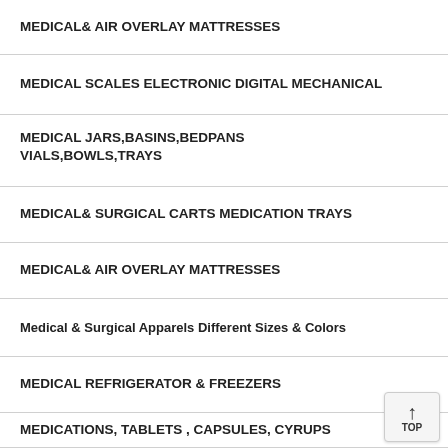MEDICAL& AIR OVERLAY MATTRESSES
MEDICAL SCALES ELECTRONIC DIGITAL MECHANICAL
MEDICAL JARS,BASINS,BEDPANS VIALS,BOWLS,TRAYS
MEDICAL& SURGICAL CARTS MEDICATION TRAYS
MEDICAL& AIR OVERLAY MATTRESSES
Medical & Surgical Apparels Different Sizes & Colors
MEDICAL REFRIGERATOR & FREEZERS
MEDICATIONS, TABLETS, CAPSULES, CYRUPS